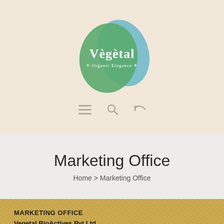[Figure (logo): Végètal Organic Elegance logo — green and blue leaf-shaped overlapping blobs with white text 'Végètal' and subtitle 'Organic Elegance']
[Figure (other): Navigation icons: hamburger menu, search magnifying glass, and back arrow]
Marketing Office
Home > Marketing Office
MARKETING OFFICE
Vegetal BioActives Pvt Ltd.
C-601, Plot No. B-8,